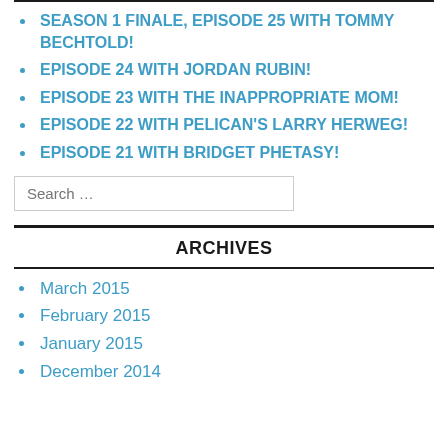SEASON 1 FINALE, EPISODE 25 WITH TOMMY BECHTOLD!
EPISODE 24 WITH JORDAN RUBIN!
EPISODE 23 WITH THE INAPPROPRIATE MOM!
EPISODE 22 WITH PELICAN'S LARRY HERWEG!
EPISODE 21 WITH BRIDGET PHETASY!
ARCHIVES
March 2015
February 2015
January 2015
December 2014